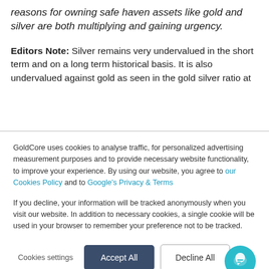reasons for owning safe haven assets like gold and silver are both multiplying and gaining urgency.
Editors Note: Silver remains very undervalued in the short term and on a long term historical basis. It is also undervalued against gold as seen in the gold silver ratio at
GoldCore uses cookies to analyse traffic, for personalized advertising measurement purposes and to provide necessary website functionality, to improve your experience. By using our website, you agree to our Cookies Policy and to Google's Privacy & Terms
If you decline, your information will be tracked anonymously when you visit our website. In addition to necessary cookies, a single cookie will be used in your browser to remember your preference not to be tracked.
Cookies settings | Accept All | Decline All